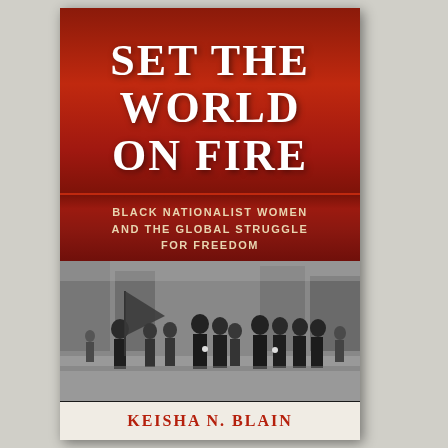SET THE WORLD ON FIRE
BLACK NATIONALIST WOMEN AND THE GLOBAL STRUGGLE FOR FREEDOM
[Figure (photo): Black and white historical photograph of a group of Black people marching in a parade or demonstration, dressed in uniforms and formal attire, one person carrying a large flag.]
KEISHA N. BLAIN